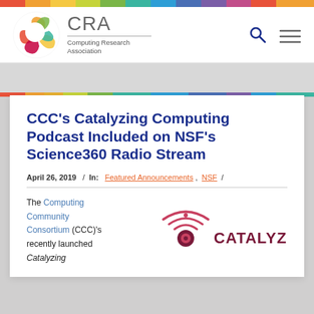[Figure (logo): CRA Computing Research Association logo with colorful circle and text]
CCC's Catalyzing Computing Podcast Included on NSF's Science360 Radio Stream
April 26, 2019 / In: Featured Announcements, NSF /
The Computing Community Consortium (CCC)'s recently launched Catalyzing
[Figure (logo): Catalyzing Computing podcast logo with radio wave icon]